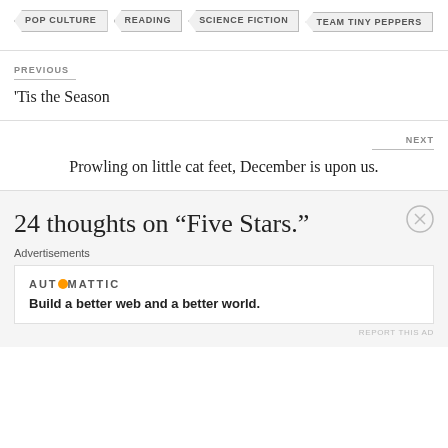POP CULTURE
READING
SCIENCE FICTION
TEAM TINY PEPPERS
PREVIOUS
'Tis the Season
NEXT
Prowling on little cat feet, December is upon us.
24 thoughts on “Five Stars.”
Advertisements
AUTOMATTIC
Build a better web and a better world.
REPORT THIS AD